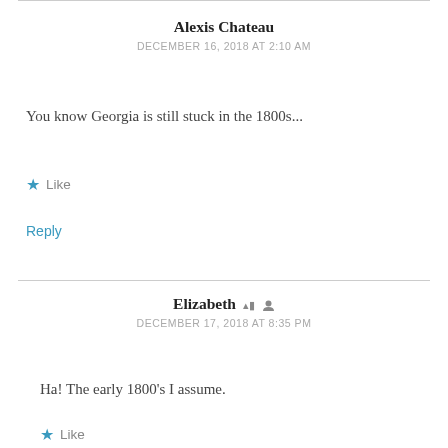Alexis Chateau
DECEMBER 16, 2018 AT 2:10 AM
You know Georgia is still stuck in the 1800s...
Like
Reply
Elizabeth
DECEMBER 17, 2018 AT 8:35 PM
Ha! The early 1800's I assume.
Like